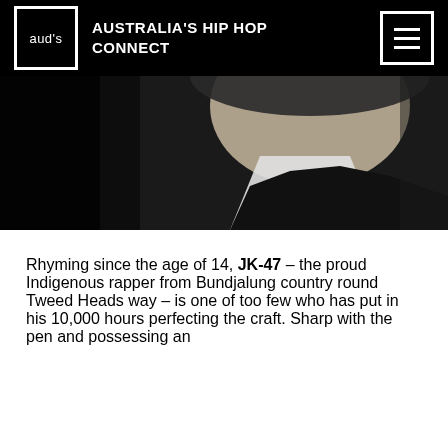aud's$ AUSTRALIA'S HIP HOP CONNECT
[Figure (photo): Black and white photograph of a person wearing a hat, cropped to show upper body and face area]
Rhyming since the age of 14, JK-47 – the proud Indigenous rapper from Bundjalung country round Tweed Heads way – is one of too few who has put in his 10,000 hours perfecting the craft. Sharp with the pen and possessing an